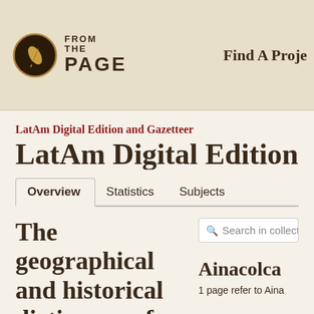[Figure (logo): FromThePage logo — circular emblem with quill pen, next to bold text reading FROM THE PAGE]
Find A Proje
LatAm Digital Edition and Gazetteer
LatAm Digital Edition a
Overview   Statistics   Subjects
The geographical and historical dictionary of America and the...
Search in collection...
Ainacolca
1 page refer to Aina